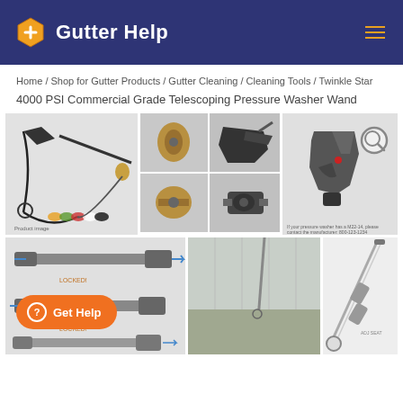Gutter Help
Home / Shop for Gutter Products / Gutter Cleaning / Cleaning Tools / Twinkle Star 4000 PSI Commercial Grade Telescoping Pressure Washer Wand
[Figure (photo): Product images for Twinkle Star 4000 PSI Commercial Grade Telescoping Pressure Washer Wand showing various components including wand, nozzles, connectors, gun handle, and telescoping extension]
Get Help